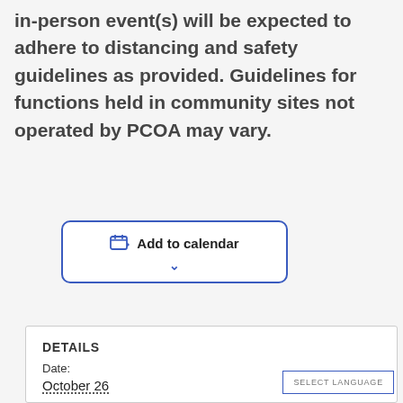in-person event(s) will be expected to adhere to distancing and safety guidelines as provided. Guidelines for functions held in community sites not operated by PCOA may vary.
[Figure (other): Add to calendar button with calendar icon and chevron dropdown indicator, blue border rounded rectangle]
DETAILS
Date:
October 26
SELECT LANGUAGE